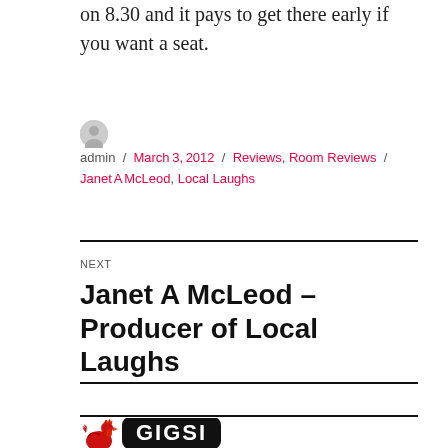on 8.30 and it pays to get there early if you want a seat.
admin / March 3, 2012 / Reviews, Room Reviews / Janet A McLeod, Local Laughs
NEXT
Janet A McLeod – Producer of Local Laughs
[Figure (logo): Red cartoon rooster logo beside a black rounded rectangle badge with white text reading GIGSI]